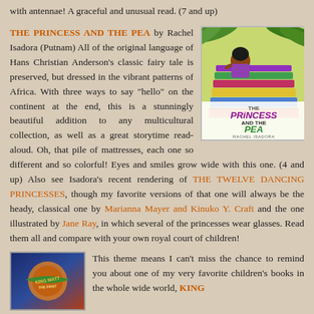with antennae! A graceful and unusual read. (7 and up)
[Figure (illustration): Book cover of 'The Princess and the Pea' by Rachel Isadora showing an African princess figure on a tall stack of colorful patterned mattresses with palm fronds in background]
THE PRINCESS AND THE PEA by Rachel Isadora (Putnam) All of the original language of Hans Christian Anderson's classic fairy tale is preserved, but dressed in the vibrant patterns of Africa. With three ways to say "hello" on the continent at the end, this is a stunningly beautiful addition to any multicultural collection, as well as a great storytime read-aloud. Oh, that pile of mattresses, each one so different and so colorful! Eyes and smiles grow wide with this one. (4 and up) Also see Isadora's recent rendering of THE TWELVE DANCING PRINCESSES, though my favorite versions of that one will always be the heady, classical one by Marianna Mayer and Kinuko Y. Craft and the one illustrated by Jane Ray, in which several of the princesses wear glasses. Read them all and compare with your own royal court of children!
[Figure (illustration): Book cover of 'King Matt the First' showing decorative circular emblem with green banner ribbon on dark blue and orange background]
This theme means I can't miss the chance to remind you about one of my very favorite children's books in the whole wide world, KING